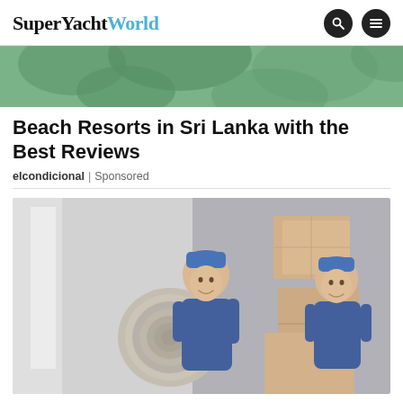SuperYachtWorld
[Figure (photo): Aerial or landscape photo of green foliage/trees, appears to be a resort or tropical setting viewed from above]
Beach Resorts in Sri Lanka with the Best Reviews
elcondicional | Sponsored
[Figure (photo): Two men in blue uniforms carrying a rolled carpet and boxes, standing near a moving truck]